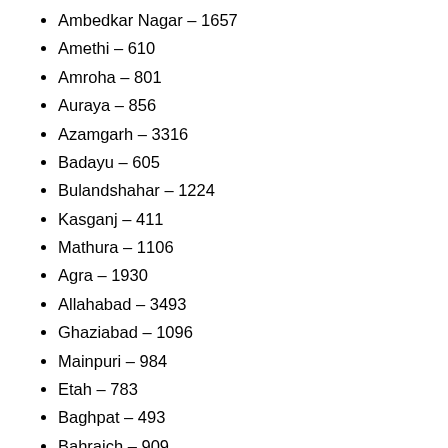Ambedkar Nagar – 1657
Amethi – 610
Amroha – 801
Auraya – 856
Azamgarh – 3316
Badayu – 605
Bulandshahar – 1224
Kasganj – 411
Mathura – 1106
Agra – 1930
Allahabad – 3493
Ghaziabad – 1096
Mainpuri – 984
Etah – 783
Baghpat – 493
Bahraich – 909
Balliya – 2152
Balrampur – 340
Banda – 578
Barabanki – 963
Bareilly – 1261
Basti – 1374
Bhadohi – 905
Bijnor – 1564